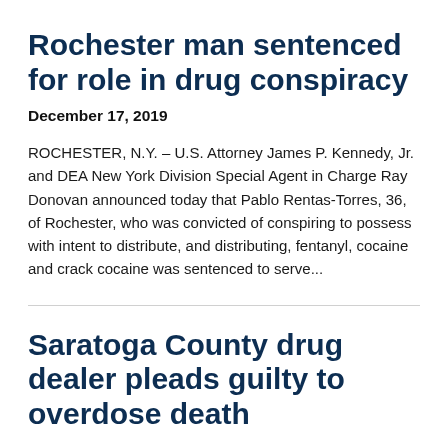Rochester man sentenced for role in drug conspiracy
December 17, 2019
ROCHESTER, N.Y. – U.S. Attorney James P. Kennedy, Jr. and DEA New York Division Special Agent in Charge Ray Donovan announced today that Pablo Rentas-Torres, 36, of Rochester, who was convicted of conspiring to possess with intent to distribute, and distributing, fentanyl, cocaine and crack cocaine was sentenced to serve...
Saratoga County drug dealer pleads guilty to overdose death